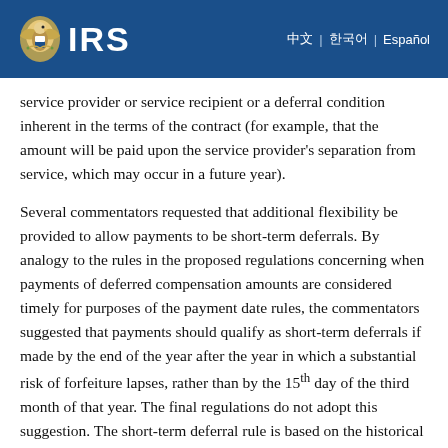IRS
service provider or service recipient or a deferral condition inherent in the terms of the contract (for example, that the amount will be paid upon the service provider's separation from service, which may occur in a future year).
Several commentators requested that additional flexibility be provided to allow payments to be short-term deferrals. By analogy to the rules in the proposed regulations concerning when payments of deferred compensation amounts are considered timely for purposes of the payment date rules, the commentators suggested that payments should qualify as short-term deferrals if made by the end of the year after the year in which a substantial risk of forfeiture lapses, rather than by the 15th day of the third month of that year. The final regulations do not adopt this suggestion. The short-term deferral rule is based on the historical treatment of certain payments paid within a short period following the end of a taxable year as not constituting deferred